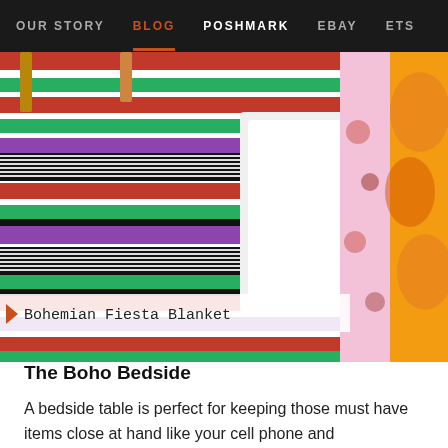OUR STORY  BLOG  POSHMARK  EBAY  ETS
[Figure (photo): Close-up photo of colorful bohemian blankets and textiles on a bed. On the left is a striped Serape/Falsa blanket in magenta, green, black, and white stripes. In the center are white pillows. On the right are floral patterned textiles in pink and orange with embroidery. A white label overlay at the bottom reads 'Bohemian Fiesta Blanket'.]
The Boho Bedside
A bedside table is perfect for keeping those must have items close at hand like your cell phone and